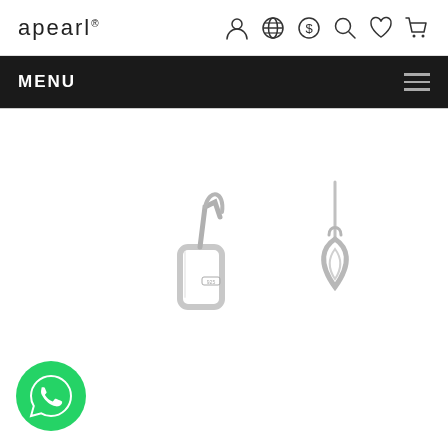apearl — navigation header with icons: user, globe, dollar, search, heart, cart
MENU
[Figure (photo): Silver earrings product photo showing two hoop/clip-style silver earrings on white background, partially cropped at bottom of page. WhatsApp contact button (green circle) in bottom-left corner.]